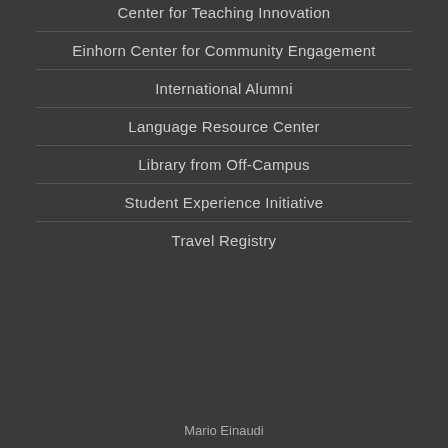Center for Teaching Innovation
Einhorn Center for Community Engagement
International Alumni
Language Resource Center
Library from Off-Campus
Student Experience Initiative
Travel Registry
Mario Einaudi